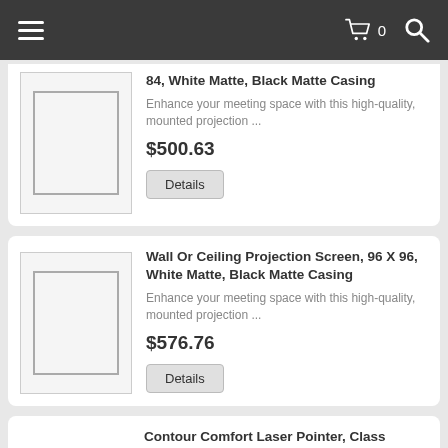Navigation bar with menu, cart (0), search
84, White Matte, Black Matte Casing
Enhance your meeting space with this high-quality, mounted projection ...
$500.63
Details
Wall Or Ceiling Projection Screen, 96 X 96, White Matte, Black Matte Casing
Enhance your meeting space with this high-quality, mounted projection ...
$576.76
Details
Contour Comfort Laser Pointer, Class